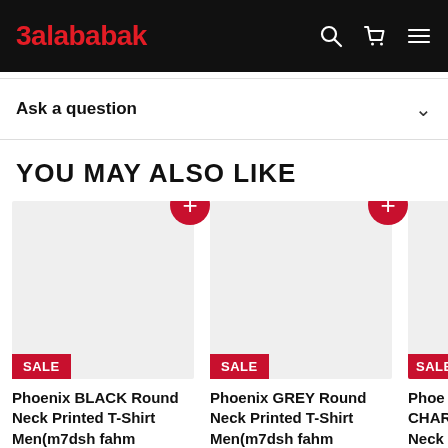3alababak
Ask a question
YOU MAY ALSO LIKE
[Figure (screenshot): Product card with light grey image placeholder, red SALE badge, and title: Phoenix BLACK Round Neck Printed T-Shirt Men(m7dsh fahm]
[Figure (screenshot): Product card with light grey image placeholder, red SALE badge, and title: Phoenix GREY Round Neck Printed T-Shirt Men(m7dsh fahm]
[Figure (screenshot): Partially visible product card with light grey image placeholder, red SALE badge, and partial title: Phoe... CHA... Neck Shirt]